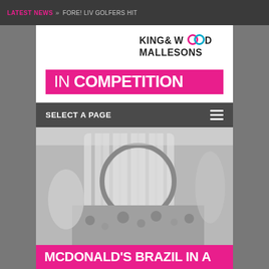LATEST NEWS » FORE! LIV GOLFERS HIT
[Figure (logo): King & Wood Mallesons law firm logo with two interlocking colored circles replacing the double-O in WOOD]
IN COMPETITION
SELECT A PAGE
[Figure (photo): Black and white photo of hands holding a decorative bag or textile with patterned fabric]
MCDONALD'S BRAZIL IN A